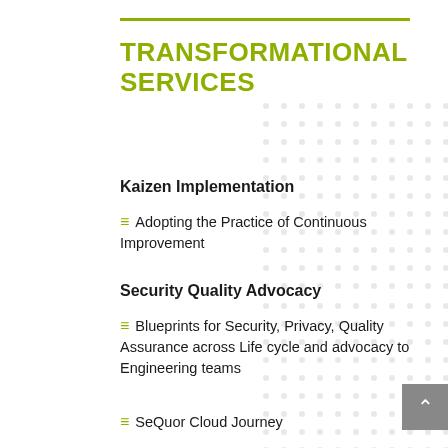TRANSFORMATIONAL SERVICES
Kaizen Implementation
Adopting the Practice of Continuous Improvement
Security Quality Advocacy
Blueprints for Security, Privacy, Quality Assurance across Life cycle and advocacy to Engineering teams
SeQuor Cloud Journey